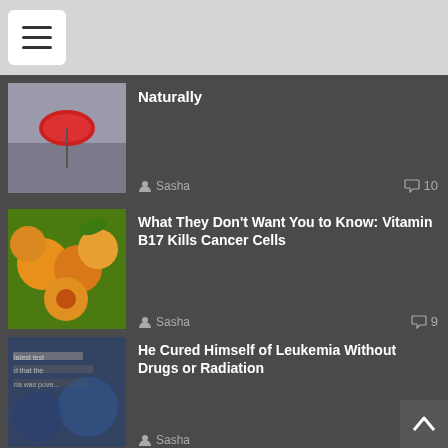Navigation menu header with hamburger icon
[Figure (photo): Woman with red umbrella thumbnail]
Naturally
Sasha  💬 10
[Figure (photo): Apricots/peaches thumbnail]
What They Don't Want You to Know: Vitamin B17 Kills Cancer Cells
Sasha  💬 9
[Figure (photo): Text overlay blurred image thumbnail]
He Cured Himself of Leukemia Without Drugs or Radiation
Sasha  💬 8
Have you read it?
[Figure (photo): Sunscreen/beach items thumbnail]
What's Wrong With High SPF in Sunscreen?
Lucas Smith  💬 0